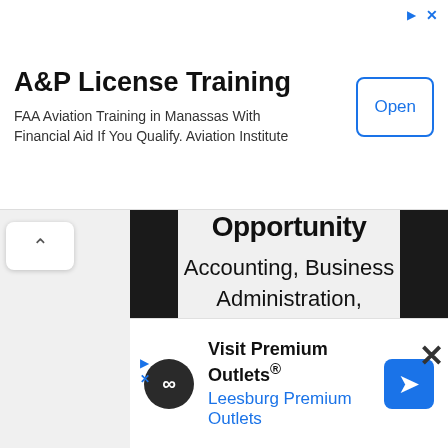[Figure (screenshot): Top ad banner for A&P License Training - FAA Aviation Training in Manassas With Financial Aid If You Qualify. Aviation Institute. Has an Open button.]
A&P License Training
FAA Aviation Training in Manassas With Financial Aid If You Qualify. Aviation Institute
[Figure (screenshot): Education ad card showing 'Opportunity' header and programs: Accounting, Business Administration, Healthcare Management with a next arrow button. Black side bars visible.]
Opportunity
Accounting, Business Administration, Healthcare Management
[Figure (screenshot): Bottom ad for Visit Premium Outlets - Leesburg Premium Outlets with logo and navigation arrow icon.]
Visit Premium Outlets®
Leesburg Premium Outlets